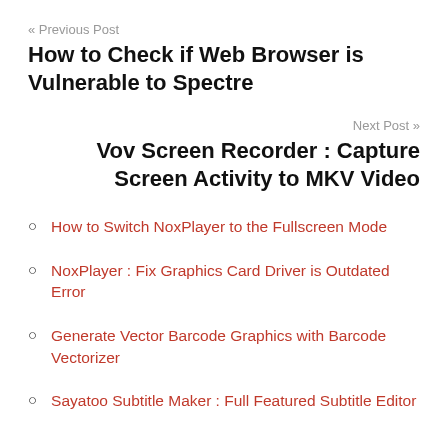« Previous Post
How to Check if Web Browser is Vulnerable to Spectre
Next Post »
Vov Screen Recorder : Capture Screen Activity to MKV Video
How to Switch NoxPlayer to the Fullscreen Mode
NoxPlayer : Fix Graphics Card Driver is Outdated Error
Generate Vector Barcode Graphics with Barcode Vectorizer
Sayatoo Subtitle Maker : Full Featured Subtitle Editor